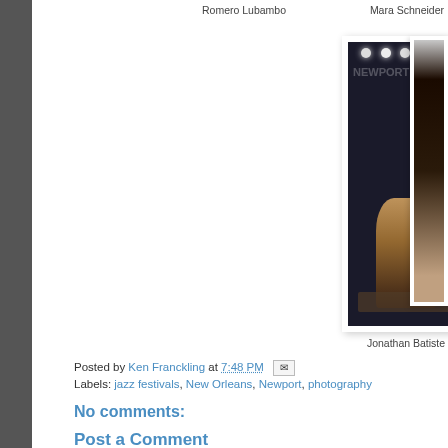Romero Lubambo
Mara Schneider
[Figure (photo): Jonathan Batiste performing on stage at Newport Jazz Festival, playing keyboard under stage lights]
[Figure (photo): Partial view of another performer with microphone stand, cropped on right edge]
Jonathan Batiste
Posted by Ken Franckling at 7:48 PM
Labels: jazz festivals, New Orleans, Newport, photography
No comments:
Post a Comment
To leave a comment, click the button below to sign in with
SIGN IN WITH GOOGLE